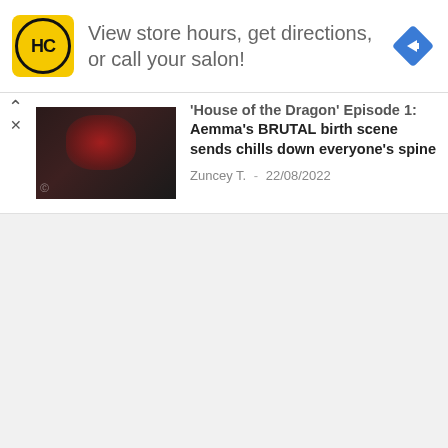[Figure (screenshot): Advertisement banner for Hair Club (HC) salon with yellow logo, text 'View store hours, get directions, or call your salon!' and a blue diamond-shaped navigation arrow icon on the right.]
'House of the Dragon' Episode 1: Queen Aemma's BRUTAL birth scene sends chills down everyone's spine
Zuncey T.  -  22/08/2022